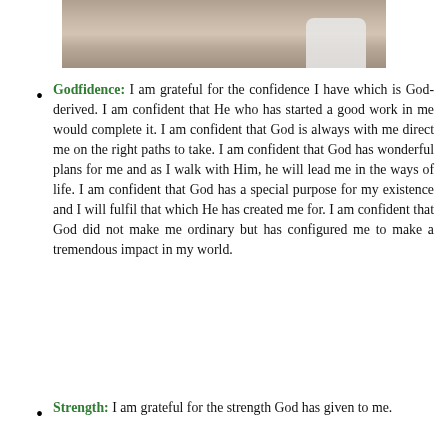[Figure (photo): Partial photo showing the lower portion of a person sitting, wearing light-colored sneakers, with a gray/denim outfit, cropped at the top of the page.]
Godfidence: I am grateful for the confidence I have which is God-derived. I am confident that He who has started a good work in me would complete it. I am confident that God is always with me direct me on the right paths to take. I am confident that God has wonderful plans for me and as I walk with Him, he will lead me in the ways of life. I am confident that God has a special purpose for my existence and I will fulfil that which He has created me for. I am confident that God did not make me ordinary but has configured me to make a tremendous impact in my world.
Strength: I am grateful for the strength God has given to me.